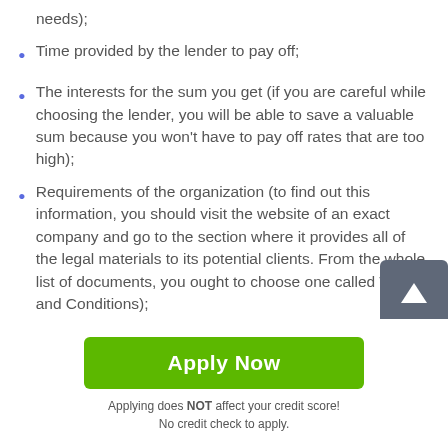needs);
Time provided by the lender to pay off;
The interests for the sum you get (if you are careful while choosing the lender, you will be able to save a valuable sum because you won't have to pay off rates that are too high);
Requirements of the organization (to find out this information, you should visit the website of an exact company and go to the section where it provides all of the legal materials to its potential clients. From the whole list of documents, you ought to choose one called Terms and Conditions);
[Figure (other): Green 'Apply Now' button]
Applying does NOT affect your credit score!
No credit check to apply.